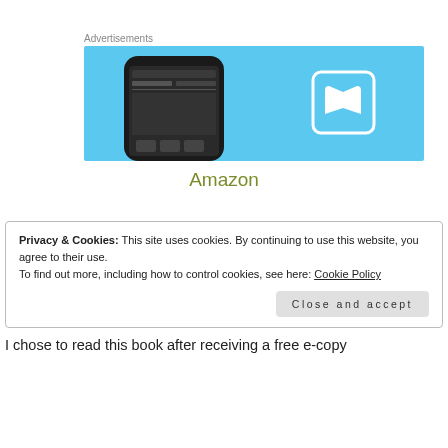Advertisements
[Figure (screenshot): Advertisement banner with a light blue background showing a smartphone on the left and a book icon on the right.]
Amazon
Privacy & Cookies: This site uses cookies. By continuing to use this website, you agree to their use.
To find out more, including how to control cookies, see here: Cookie Policy
Close and accept
I chose to read this book after receiving a free e-copy